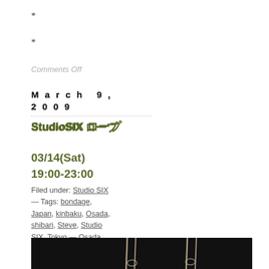*
*
Comments Off
March 9, 2009
StudioSIX ロープ縛り体験 03/14(Sat) 19:00-23:00
Filed under: Studio SIX — Tags: bondage, Japan, kinbaku, Osada, shibari, Steve, Studio SIX, Tokyo — Osada Steve @ 6:17 pm
[Figure (photo): Dark background photo showing ropes hanging, partial view of bondage/shibari equipment against black background]